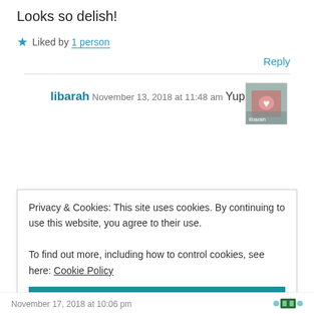Looks so delish!
★ Liked by 1 person
Reply
libarah
November 13, 2018 at 11:48 am
Yup 😍
Privacy & Cookies: This site uses cookies. By continuing to use this website, you agree to their use.
To find out more, including how to control cookies, see here: Cookie Policy
Close and accept
November 17, 2018 at 10:06 pm